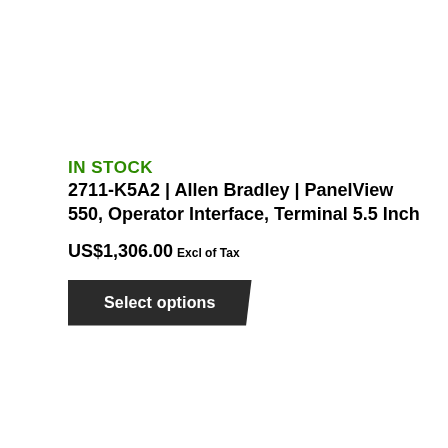IN STOCK
2711-K5A2 | Allen Bradley | PanelView 550, Operator Interface, Terminal 5.5 Inch
US$1,306.00 Excl of Tax
Select options